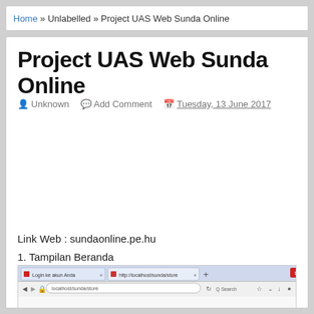Home » Unlabelled » Project UAS Web Sunda Online
Project UAS Web Sunda Online
Unknown   Add Comment   Tuesday, 13 June 2017
Link Web : sundaonline.pe.hu
1. Tampilan Beranda
[Figure (screenshot): Browser screenshot showing localhost/sunda/store with two open tabs]